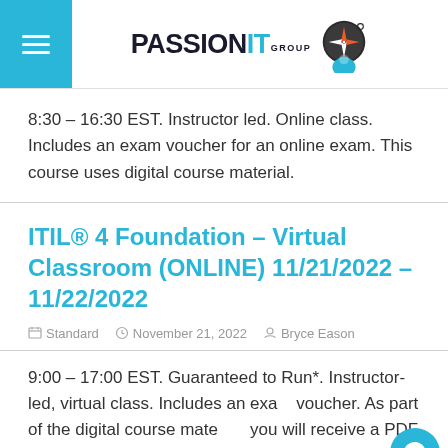PassionIT Group
8:30 – 16:30 EST. Instructor led. Online class. Includes an exam voucher for an online exam. This course uses digital course material.
ITIL® 4 Foundation – Virtual Classroom (ONLINE) 11/21/2022 – 11/22/2022
Standard  November 21, 2022  Bryce Eason
9:00 – 17:00 EST. Guaranteed to Run*. Instructor-led, virtual class. Includes an exam voucher. As part of the digital course material, you will receive a PDF of the ITIL4 Foundation